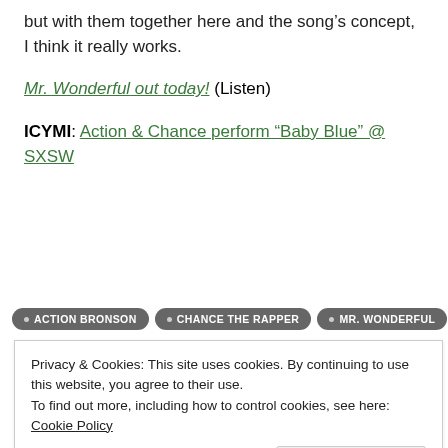but with them together here and the song’s concept, I think it really works.
Mr. Wonderful out today! (Listen)
ICYMI: Action & Chance perform “Baby Blue” @ SXSW
ACTION BRONSON  CHANCE THE RAPPER  MR. WONDERFUL
Privacy & Cookies: This site uses cookies. By continuing to use this website, you agree to their use.
To find out more, including how to control cookies, see here: Cookie Policy
Close and accept